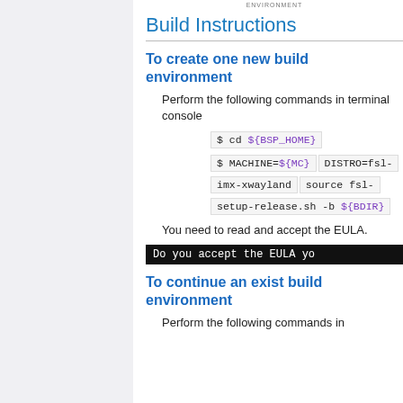ENVIRONMENT
Build Instructions
To create one new build environment
Perform the following commands in terminal console
$ cd ${BSP_HOME}
$ MACHINE=${MC} DISTRO=fsl-imx-xwayland source fsl-setup-release.sh -b ${BDIR}
You need to read and accept the EULA.
[Figure (screenshot): Terminal screenshot showing: Do you accept the EULA yo]
To continue an exist build environment
Perform the following commands in